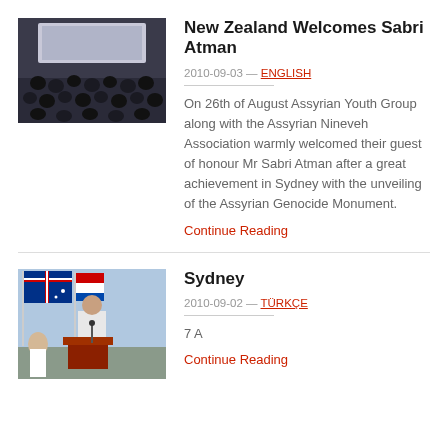[Figure (photo): Audience of people seated in rows at an indoor event, seen from behind, with a screen at the front.]
New Zealand Welcomes Sabri Atman
2010-09-03 — ENGLISH
On 26th of August Assyrian Youth Group along with the Assyrian Nineveh Association warmly welcomed their guest of honour Mr Sabri Atman after a great achievement in Sydney with the unveiling of the Assyrian Genocide Monument.
Continue Reading
[Figure (photo): A man speaking at a podium with flags in the background including an Australian flag.]
Sydney
2010-09-02 — TÜRKÇE
7 A
Continue Reading